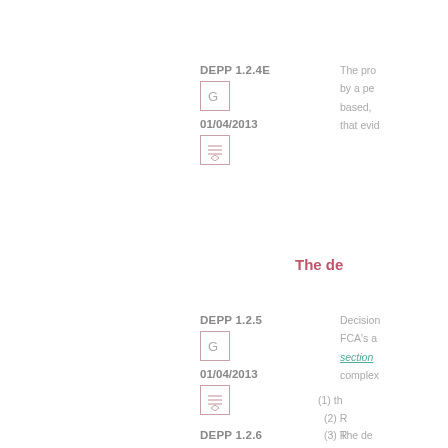DEPP 1.2.4E
G
01/04/2013
The pro... by a pe... based, ... that evid...
The de...
DEPP 1.2.5
G
01/04/2013
Decision... FCA's a... section ... complex...
(1) th...
(2) R...
(3) R...
DEPP 1.2.6
The de...